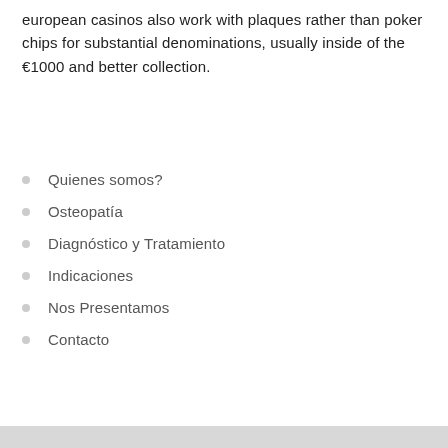european casinos also work with plaques rather than poker chips for substantial denominations, usually inside of the €1000 and better collection.
Quienes somos?
Osteopatía
Diagnóstico y Tratamiento
Indicaciones
Nos Presentamos
Contacto